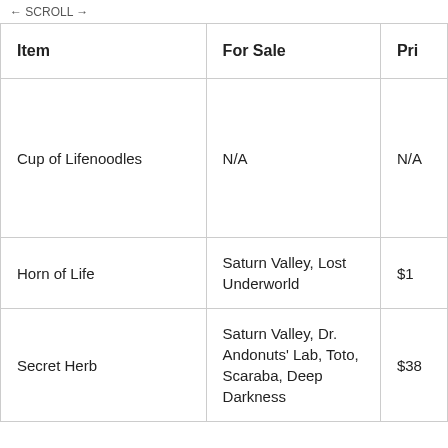← SCROLL →
| Item | For Sale | Pri[ce] |
| --- | --- | --- |
| Cup of Lifenoodles | N/A | N/A |
| Horn of Life | Saturn Valley, Lost Underworld | $1[?] |
| Secret Herb | Saturn Valley, Dr. Andonuts' Lab, Toto, Scaraba, Deep Darkness | $38[?] |